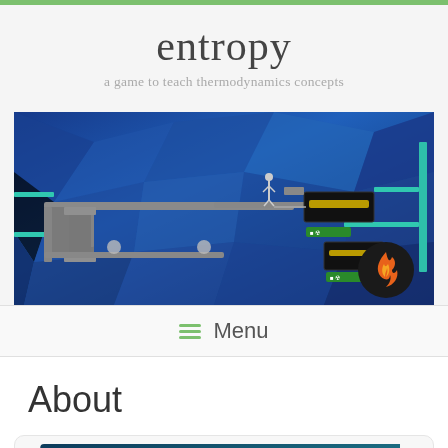entropy
a game to teach thermodynamics concepts
[Figure (screenshot): Game screenshot showing a 2D platformer game with blue polygonal background, grey platforms, teal ledges, UI elements, and a flame icon badge in the bottom right]
≡  Menu
About
[Figure (screenshot): Partial game screenshot showing teal/blue wavy texture pattern at the bottom of the page inside a rounded card]